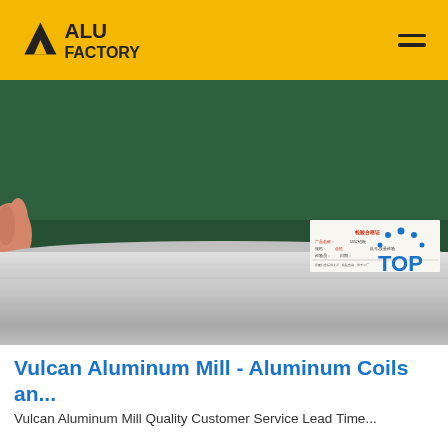ALU FACTORY
[Figure (photo): Photo of aluminum coil/sheet with a quality inspection document/label visible on top, placed against a dark green background. A hand is partially visible on the left side.]
Vulcan Aluminum Mill - Aluminum Coils an...
Vulcan Aluminum Mill Quality Customer Service Lead Time...